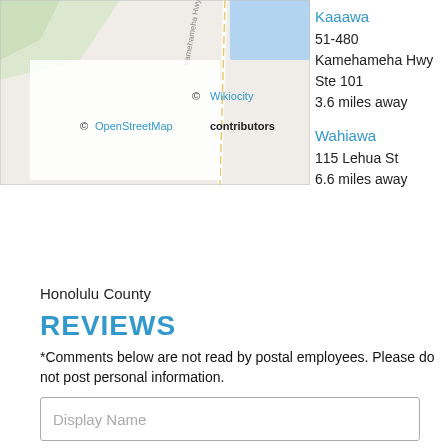[Figure (map): Street map showing Kamehameha Hwy area with OpenStreetMap and Wikiocity attribution]
Kaaawa
51-480
Kamehameha Hwy
Ste 101
3.6 miles away
Wahiawa
115 Lehua St
6.6 miles away
Honolulu County
REVIEWS
*Comments below are not read by postal employees. Please do not post personal information.
Display Name
Email (not published)